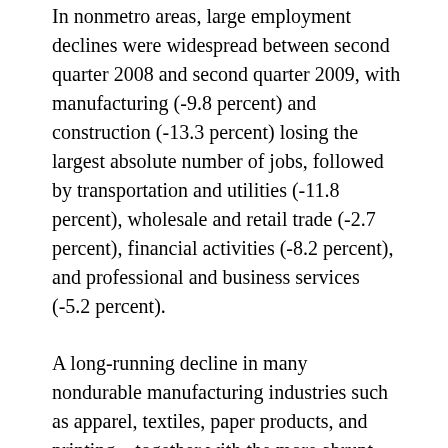In nonmetro areas, large employment declines were widespread between second quarter 2008 and second quarter 2009, with manufacturing (-9.8 percent) and construction (-13.3 percent) losing the largest absolute number of jobs, followed by transportation and utilities (-11.8 percent), wholesale and retail trade (-2.7 percent), financial activities (-8.2 percent), and professional and business services (-5.2 percent).
A long-running decline in many nondurable manufacturing industries such as apparel, textiles, paper products, and printing—together with the more abrupt decline of many durable manufacturing industries in the autumn of 2008 after 4 years of relative stability—resulted in the loss of more than 300,000 nonmetro manufacturing jobs in a single year.